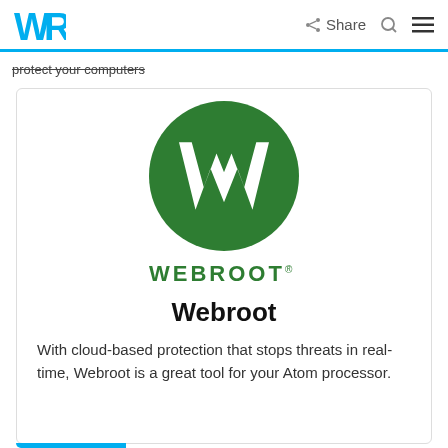WR | Share [search] [menu]
protect your computers
[Figure (logo): Webroot logo: green circle with white W letter mark, and WEBROOT wordmark in green below]
Webroot
With cloud-based protection that stops threats in real-time, Webroot is a great tool for your Atom processor.